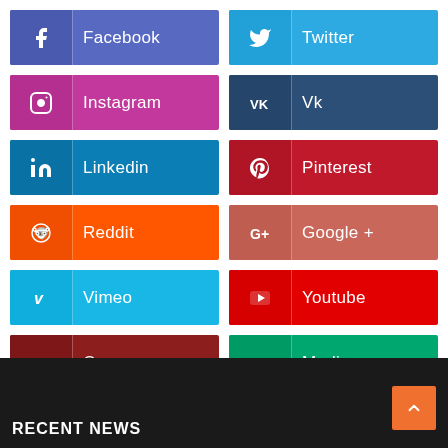[Figure (infographic): Grid of social media sharing buttons: Facebook, Twitter, Instagram, Vk, Linkedin, Pinterest, Reddit, Google+, Vimeo, Youtube, Quora, Medium — each as a colored button with icon and label]
RECENT NEWS